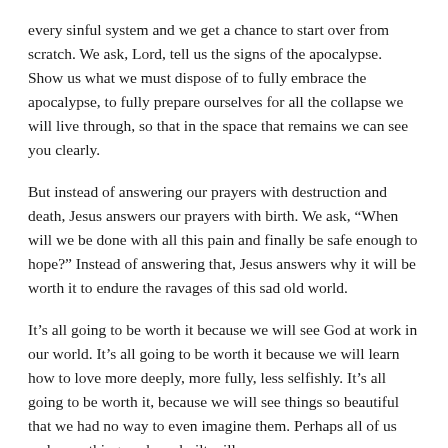every sinful system and we get a chance to start over from scratch. We ask, Lord, tell us the signs of the apocalypse. Show us what we must dispose of to fully embrace the apocalypse, to fully prepare ourselves for all the collapse we will live through, so that in the space that remains we can see you clearly.
But instead of answering our prayers with destruction and death, Jesus answers our prayers with birth. We ask, “When will we be done with all this pain and finally be safe enough to hope?” Instead of answering that, Jesus answers why it will be worth it to endure the ravages of this sad old world.
It’s all going to be worth it because we will see God at work in our world. It’s all going to be worth it because we will learn how to love more deeply, more fully, less selfishly. It’s all going to be worth it, because we will see things so beautiful that we had no way to even imagine them. Perhaps all of us and everything we have built will